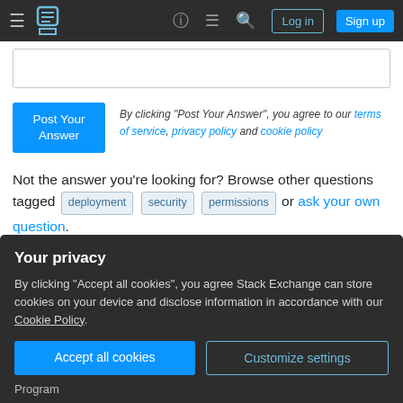Stack Exchange navigation bar with Log in and Sign up buttons
By clicking "Post Your Answer", you agree to our terms of service, privacy policy and cookie policy
Not the answer you're looking for? Browse other questions tagged deployment security permissions or ask your own question.
The Overflow Blog
Your privacy
By clicking "Accept all cookies", you agree Stack Exchange can store cookies on your device and disclose information in accordance with our Cookie Policy.
Program